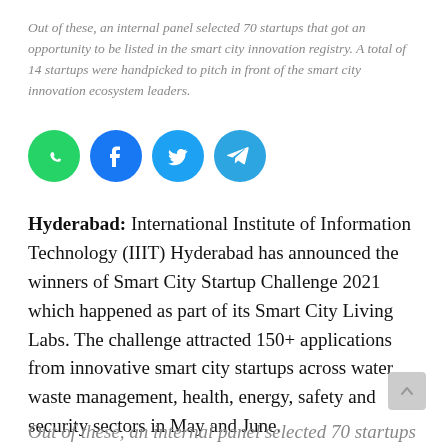Out of these, an internal panel selected 70 startups that got an opportunity to be listed in the smart city innovation registry. A total of 14 startups were handpicked to pitch in front of the smart city innovation ecosystem leaders.
[Figure (infographic): Four social media sharing icons in circular buttons: WhatsApp (green), Facebook (dark blue), Twitter (light blue), Telegram (light blue)]
Hyderabad: International Institute of Information Technology (IIIT) Hyderabad has announced the winners of Smart City Startup Challenge 2021 which happened as part of its Smart City Living Labs. The challenge attracted 150+ applications from innovative smart city startups across water, waste management, health, energy, safety and security sectors in May and June.
Out of these, an internal panel selected 70 startups